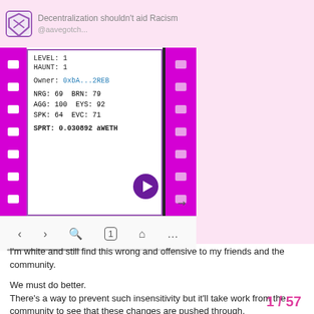Decentralization shouldn't aid Racism
[Figure (screenshot): Screenshot of a blockchain NFT interface showing a ghost character card with stats: LEVEL: 1, HAUNT: 1, Owner: 0xbA...2REB, NRG: 69, BRN: 79, AGG: 100, EYS: 92, SPK: 64, EVC: 71, SPRT: 0.030892 aWETH. The card has a purple/magenta film strip border and a play button. Below is a mobile browser navigation bar.]
I'm white and still find this wrong and offensive to my friends and the community.
We must do better.
There's a way to prevent such insensitivity but it'll take work from the community to see that these changes are pushed through.
1 / 57